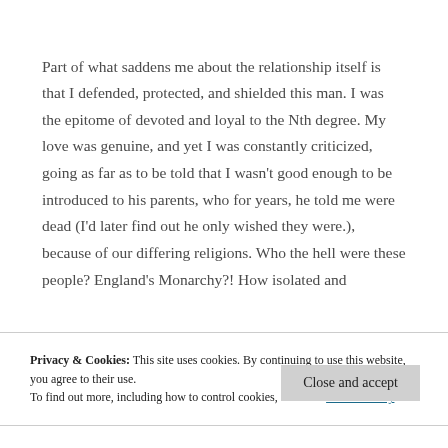Part of what saddens me about the relationship itself is that I defended, protected, and shielded this man. I was the epitome of devoted and loyal to the Nth degree. My love was genuine, and yet I was constantly criticized, going as far as to be told that I wasn't good enough to be introduced to his parents, who for years, he told me were dead (I'd later find out he only wished they were.), because of our differing religions. Who the hell were these people? England's Monarchy?! How isolated and
Privacy & Cookies: This site uses cookies. By continuing to use this website, you agree to their use.
To find out more, including how to control cookies, see here: Cookie Policy
Close and accept